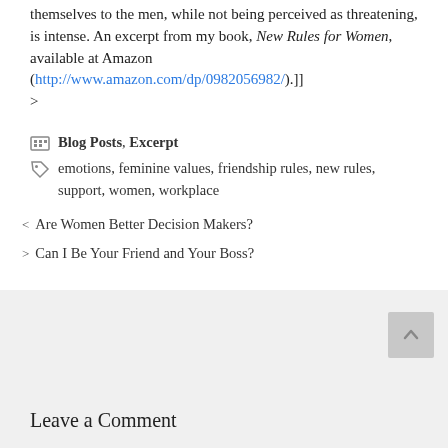themselves to the men, while not being perceived as threatening, is intense. An excerpt from my book, New Rules for Women, available at Amazon (http://www.amazon.com/dp/0982056982/).]]>
Blog Posts, Excerpt
emotions, feminine values, friendship rules, new rules, support, women, workplace
Are Women Better Decision Makers?
Can I Be Your Friend and Your Boss?
Leave a Comment